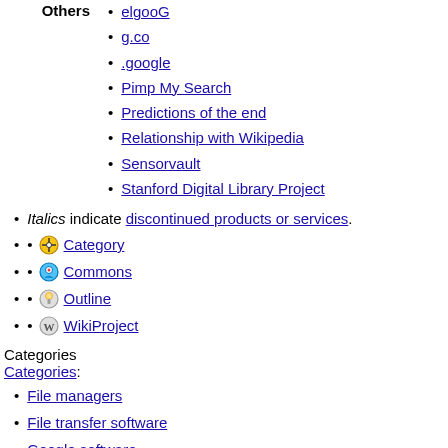elgooG
g.co
.google
Pimp My Search
Predictions of the end
Relationship with Wikipedia
Sensorvault
Stanford Digital Library Project
Italics indicate discontinued products or services.
Category
Commons
Outline
WikiProject
Categories
Categories:
File managers
File transfer software
Google software
Android (operating system) software
Google stubs